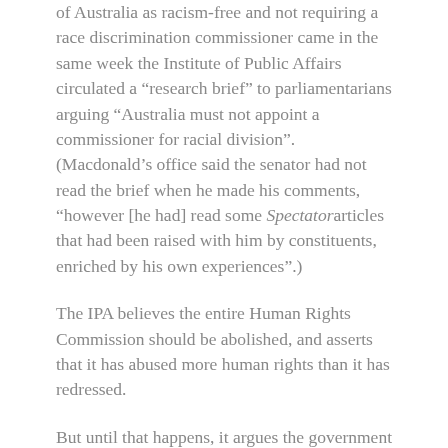of Australia as racism-free and not requiring a race discrimination commissioner came in the same week the Institute of Public Affairs circulated a “research brief” to parliamentarians arguing “Australia must not appoint a commissioner for racial division”. (Macdonald’s office said the senator had not read the brief when he made his comments, “however [he had] read some Spectator articles that had been raised with him by constituents, enriched by his own experiences”.)
The IPA believes the entire Human Rights Commission should be abolished, and asserts that it has abused more human rights than it has redressed.
But until that happens, it argues the government should leave the race discrimination commissioner role empty.
The IPA paper asserts that “refusing to appoint a new race discrimination commissioner would be an